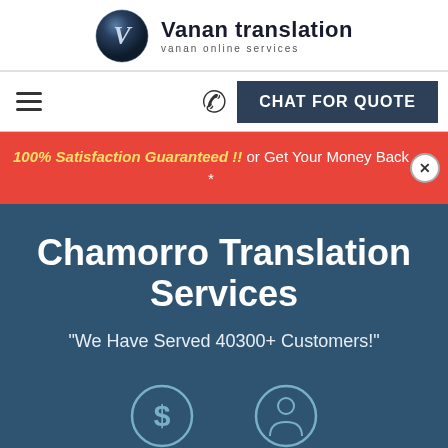[Figure (logo): Vanan Translation logo with dark sphere icon and text 'Vanan translation / vanan online services']
[Figure (screenshot): Navigation bar with hamburger menu, phone icon, and 'CHAT FOR QUOTE' dark button]
100% Satisfaction Guaranteed !! or Get Your Money Back *
Chamorro Translation Services
"We Have Served 40300+ Customers!"
[Figure (illustration): Two circular icon buttons partially visible at bottom of hero section]